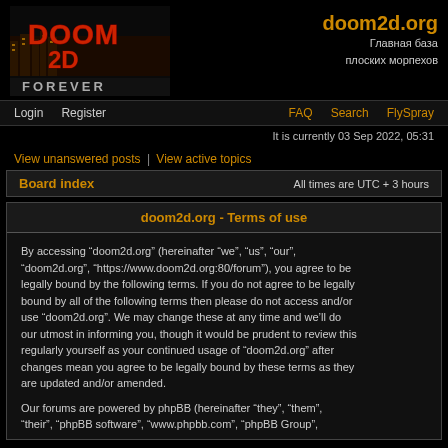[Figure (logo): Doom 2D Forever logo with stylized text on dark background]
doom2d.org
Главная база плоских морпехов
Login  Register  FAQ  Search  FlySpray
It is currently 03 Sep 2022, 05:31
View unanswered posts | View active topics
Board index  All times are UTC + 3 hours
doom2d.org - Terms of use
By accessing “doom2d.org” (hereinafter “we”, “us”, “our”, “doom2d.org”, “https://www.doom2d.org:80/forum”), you agree to be legally bound by the following terms. If you do not agree to be legally bound by all of the following terms then please do not access and/or use “doom2d.org”. We may change these at any time and we’ll do our utmost in informing you, though it would be prudent to review this regularly yourself as your continued usage of “doom2d.org” after changes mean you agree to be legally bound by these terms as they are updated and/or amended.
Our forums are powered by phpBB (hereinafter “they”, “them”, “their”, “phpBB software”, “www.phpbb.com”, “phpBB Group”,